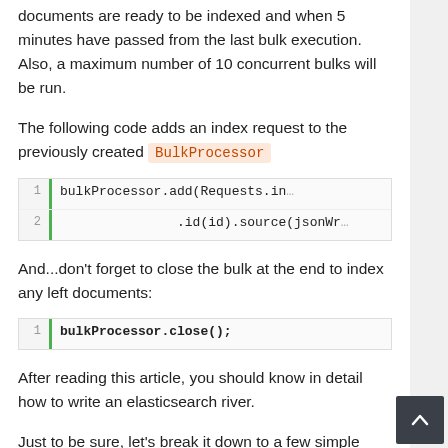documents are ready to be indexed and when 5 minutes have passed from the last bulk execution. Also, a maximum number of 10 concurrent bulks will be run.
The following code adds an index request to the previously created BulkProcessor
[Figure (screenshot): Code block showing: 1 | bulkProcessor.add(Requests.in... 2 |                .id(id).source(jsonWr...]
And...don't forget to close the bulk at the end to index any left documents:
[Figure (screenshot): Code block showing: 1 | bulkProcessor.close();]
After reading this article, you should know in detail how to write an elasticsearch river.
Just to be sure, let's break it down to a few simple steps: